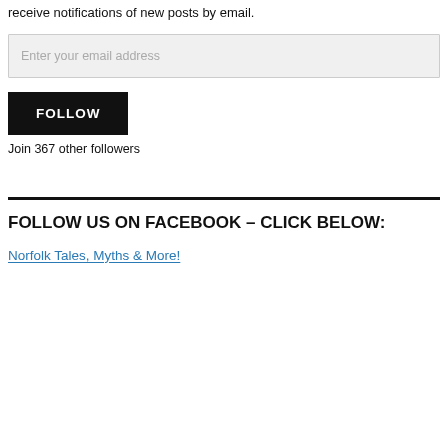receive notifications of new posts by email.
Enter your email address
FOLLOW
Join 367 other followers
FOLLOW US ON FACEBOOK – CLICK BELOW:
Norfolk Tales, Myths & More!